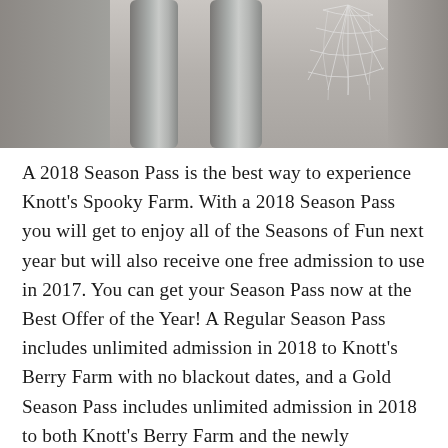[Figure (photo): Partial photo showing what appears to be cylindrical columns or poles with cobweb/spiderweb decorations, photographed outdoors in daylight. Only the bottom portion of the image is visible.]
A 2018 Season Pass is the best way to experience Knott's Spooky Farm. With a 2018 Season Pass you will get to enjoy all of the Seasons of Fun next year but will also receive one free admission to use in 2017. You can get your Season Pass now at the Best Offer of the Year! A Regular Season Pass includes unlimited admission in 2018 to Knott's Berry Farm with no blackout dates, and a Gold Season Pass includes unlimited admission in 2018 to both Knott's Berry Farm and the newly expanded Knott's Soak City Waterpark with no blackout dates. Regular passes are just $92 or nine easy payments of $10.22 and Gold Season Passes are $110 or nine payments of just $12.22. These offers end October 29, 2017. Applicable taxes and fees apply online. Payment plans are only available at knotts.com.